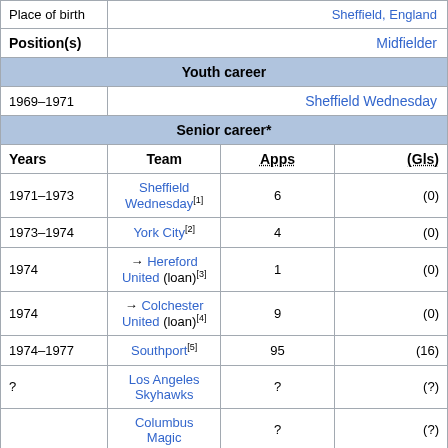| Years | Team | Apps | (Gls) |
| --- | --- | --- | --- |
|  | Place of birth | Sheffield, England |
|  | Position(s) | Midfielder |
| Youth career |  |  |
| 1969–1971 | Sheffield Wednesday |  |  |
| Senior career* |  |  |  |
| Years | Team | Apps | (Gls) |
| 1971–1973 | Sheffield Wednesday[1] | 6 | (0) |
| 1973–1974 | York City[2] | 4 | (0) |
| 1974 | → Hereford United (loan)[3] | 1 | (0) |
| 1974 | → Colchester United (loan)[4] | 9 | (0) |
| 1974–1977 | Southport[5] | 95 | (16) |
| ? | Los Angeles Skyhawks | ? | (?) |
|  | Columbus Magic | ? | (?) |
| Teams managed |  |  |  |